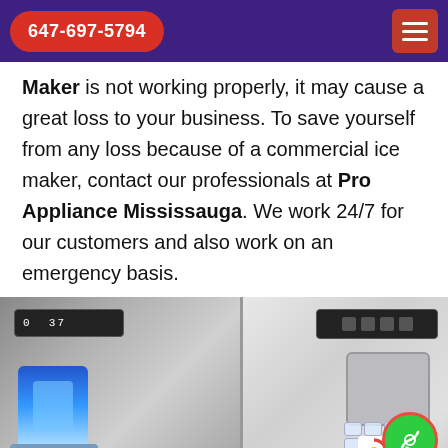647-697-5794
Maker is not working properly, it may cause a great loss to your business. To save yourself from any loss because of a commercial ice maker, contact our professionals at Pro Appliance Mississauga. We work 24/7 for our customers and also work on an emergency basis.
[Figure (photo): Two refrigerators side by side: left one is stainless steel with digital display showing '0 37' and a blue-lit water/ice dispenser; right one is white with digital panel and ice dispenser with ice cubes.]